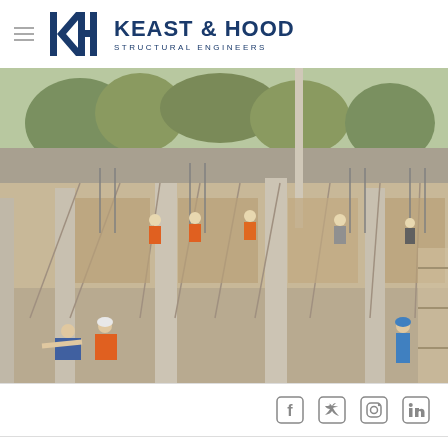[Figure (logo): Keast & Hood Structural Engineers logo with KH monogram in navy blue, hamburger menu icon to left]
[Figure (photo): Construction site photo showing concrete columns being formed with rebar and wooden formwork. Workers in hard hats and orange vests visible. Trees and wall in background.]
[Figure (infographic): Social media icons row: Facebook, Twitter, Instagram, LinkedIn — outlined square icons in gray]